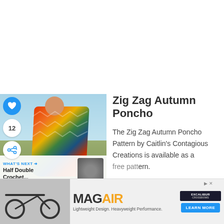[Figure (photo): Woman wearing a colorful zig zag autumn poncho standing outdoors in a field]
Zig Zag Autumn Poncho
The Zig Zag Autumn Poncho Pattern by Caitlin's Contagious Creations is available as a free pattern.
[Figure (photo): Advertisement banner for MagAir - Lightweight Design, Heavyweight Performance with a Learn More button]
The fi...